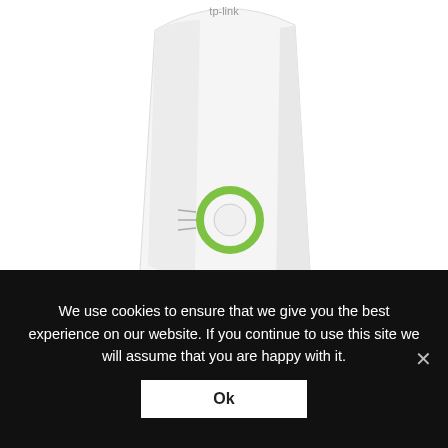[Figure (photo): TP-Link TL-WA854RE wireless range extender device, white color, with a green circular indicator light, shown at an angle against white background]
RANGE EXTENDER wireless 300Mbps - TL-WA854RE.
RANGE EXTENDER wireless 300Mbps, compact, fara port Ethernet, TP-LINK, TL-WA854RE (include TVL 75lei)
We use cookies to ensure that we give you the best experience on our website. If you continue to use this site we will assume that you are happy with it.